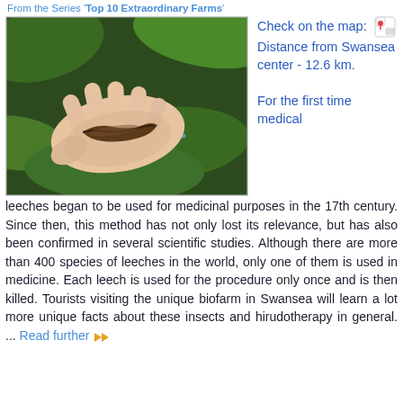From the Series 'Top 10 Extraordinary Farms'
[Figure (photo): A hand holding a leech (medicinal leech) against a background of green leaves]
Check on the map: [map icon]
Distance from Swansea center - 12.6 km.

For the first time medical leeches began to be used for medicinal purposes in the 17th century. Since then, this method has not only lost its relevance, but has also been confirmed in several scientific studies. Although there are more than 400 species of leeches in the world, only one of them is used in medicine. Each leech is used for the procedure only once and is then killed. Tourists visiting the unique biofarm in Swansea will learn a lot more unique facts about these insects and hirudotherapy in general. ... Read further ▶▶